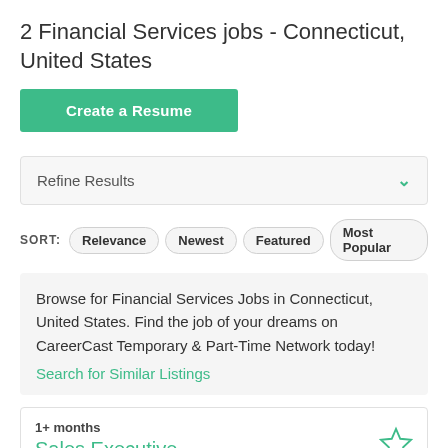2 Financial Services jobs - Connecticut, United States
Create a Resume
Refine Results
SORT: Relevance Newest Featured Most Popular
Browse for Financial Services Jobs in Connecticut, United States. Find the job of your dreams on CareerCast Temporary & Part-Time Network today!
Search for Similar Listings
1+ months
Sales Executive
ADP